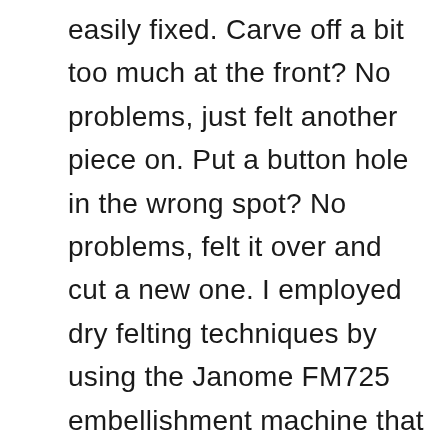easily fixed. Carve off a bit too much at the front? No problems, just felt another piece on. Put a button hole in the wrong spot? No problems, felt it over and cut a new one. I employed dry felting techniques by using the Janome FM725 embellishment machine that Mark bought me for Christmas. I discovered that if I felted on the inside, the outside looked unchanged. Once I had the bit between my teeth, I went mad, felting new pieces over areas that looked a bit thin and adding pieces to provide a bit more coverage at the front. I haven't quite finished sculpting that front edge, it takes a surprising amount of time to get it right, but time is against me for this post, so this